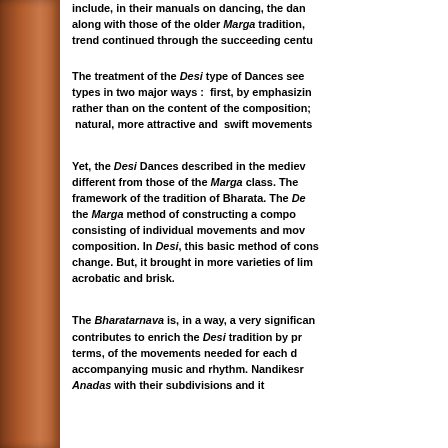include, in their manuals on dancing, the dan along with those of the older Marga tradition, trend continued through the succeeding centu
The treatment of the Desi type of Dances see types in two major ways : first, by emphasizin rather than on the content of the composition; natural, more attractive and swift movements
Yet, the Desi Dances described in the mediev different from those of the Marga class. The framework of the tradition of Bharata. The De the Marga method of constructing a compo consisting of individual movements and mov composition. In Desi, this basic method of cons change. But, it brought in more varieties of lim acrobatic and brisk.
The Bharatarnava is, in a way, a very significan contributes to enrich the Desi tradition by pr terms, of the movements needed for each d accompanying music and rhythm. Nandikesr Anadas with their subdivisions and it